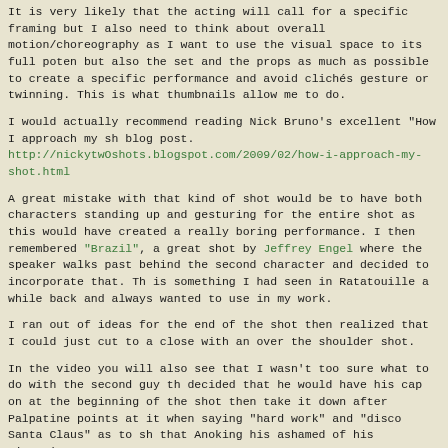It is very likely that the acting will call for a specific framing but I also need to think about overall motion/choreography as I want to use the visual space to its full potential but also the set and the props as much as possible to create a specific performance and avoid clichés gesture or twinning. This is what thumbnails allow me to do.
I would actually recommend reading Nick Bruno's excellent "How I approach my sh blog post.
http://nickytwOshots.blogspot.com/2009/02/how-i-approach-my-shot.html
A great mistake with that kind of shot would be to have both characters standing up and gesturing for the entire shot as this would have created a really boring performance. I then remembered "Brazil", a great shot by Jeffrey Engel where the speaker walks past behind the second character and decided to incorporate that. This is something I had seen in Ratatouille a while back and always wanted to use in my work.
I ran out of ideas for the end of the shot then realized that I could just cut to a close with an over the shoulder shot.
In the video you will also see that I wasn't too sure what to do with the second guy th decided that he would have his cap on at the beginning of the shot then take it down after Palpatine points at it when saying "hard work" and "disco Santa Claus" as to sh that Anoking his ashamed of his situation.